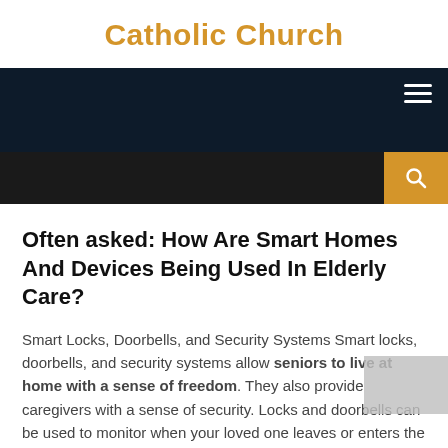Catholic Church
[Figure (other): Dark navy navigation bar with hamburger menu icon (three white horizontal lines) in top right corner]
[Figure (other): Dark black search bar with orange/gold search button on the right containing a magnifying glass icon]
Often asked: How Are Smart Homes And Devices Being Used In Elderly Care?
Smart Locks, Doorbells, and Security Systems Smart locks, doorbells, and security systems allow seniors to live at home with a sense of freedom. They also provide caregivers with a sense of security. Locks and doorbells can be used to monitor when your loved one leaves or enters the home.